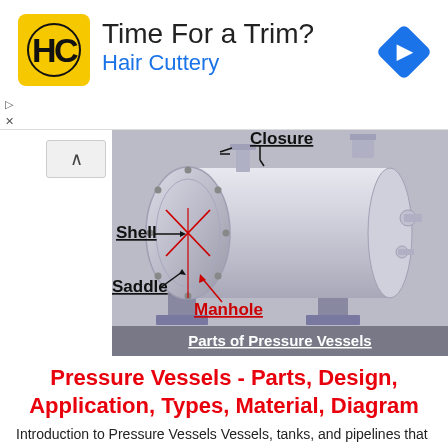[Figure (other): Advertisement banner for Hair Cuttery with logo, text 'Time For a Trim?' and 'Hair Cuttery', and a blue navigation arrow icon]
[Figure (engineering-diagram): 3D CAD diagram of a horizontal pressure vessel showing labeled parts: Closure (top), Shell (middle-left), Saddle (support legs), and Manhole (bottom red label). Caption bar reads 'Parts of Pressure Vessels'.]
Pressure Vessels - Parts, Design, Application, Types, Material, Diagram
Introduction to Pressure Vessels Vessels, tanks, and pipelines that carry, store, or receive fluids are called